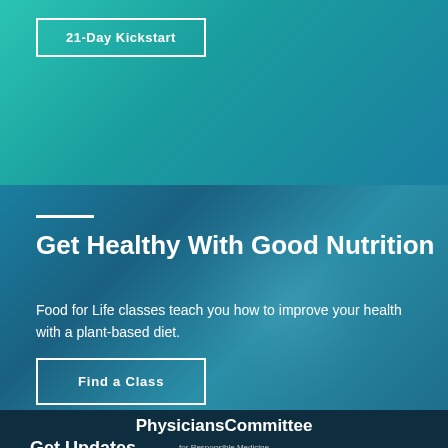[Figure (screenshot): Teal/turquoise gradient background for top banner section with 21-Day Kickstart button]
21-Day Kickstart
[Figure (screenshot): Dark teal/blue gradient background for main content section with decorative circular overlay]
Get Healthy With Good Nutrition
Food for Life classes teach you how to improve your health with a plant-based diet.
Find a Class
[Figure (logo): PhysiciansCommittee for Responsible Medicine logo on dark navy background]
Get Updates